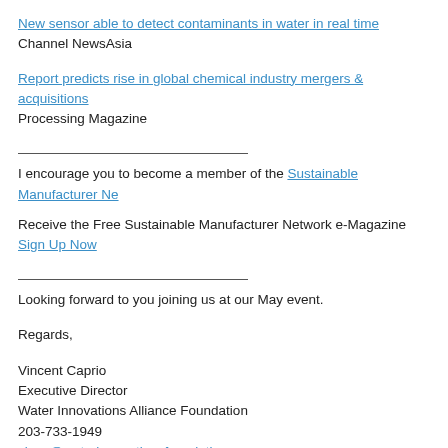New sensor able to detect contaminants in water in real time
Channel NewsAsia
Report predicts rise in global chemical industry mergers & acquisitions
Processing Magazine
I encourage you to become a member of the Sustainable Manufacturer Ne
Receive the Free Sustainable Manufacturer Network e-Magazine
Sign Up Now
Looking forward to you joining us at our May event.
Regards,
Vincent Caprio
Executive Director
Water Innovations Alliance Foundation
203-733-1949
vince@waterinnovationsfoundation.org